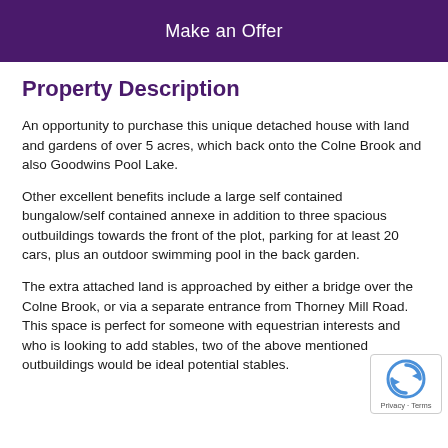Make an Offer
Property Description
An opportunity to purchase this unique detached house with land and gardens of over 5 acres, which back onto the Colne Brook and also Goodwins Pool Lake.
Other excellent benefits include a large self contained bungalow/self contained annexe in addition to three spacious outbuildings towards the front of the plot, parking for at least 20 cars, plus an outdoor swimming pool in the back garden.
The extra attached land is approached by either a bridge over the Colne Brook, or via a separate entrance from Thorney Mill Road. This space is perfect for someone with equestrian interests and who is looking to add stables, two of the above mentioned outbuildings would be ideal potential stables.